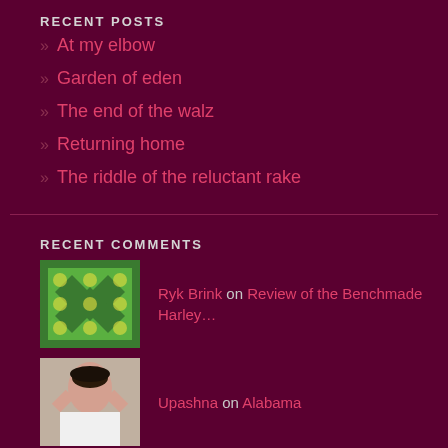RECENT POSTS
» At my elbow
» Garden of eden
» The end of the walz
» Returning home
» The riddle of the reluctant rake
RECENT COMMENTS
Ryk Brink on Review of the Benchmade Harley…
Upashna on Alabama
Jillianne howard on Review of the Benchmade Harley…